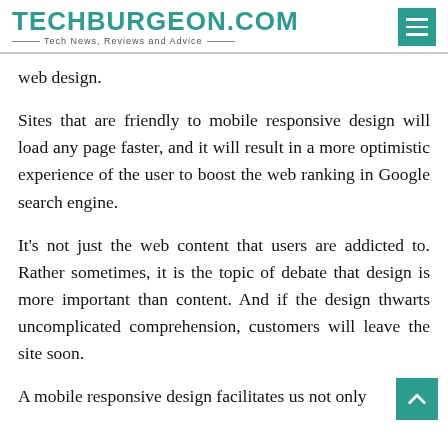TECHBURGEON.COM — Tech News, Reviews and Advice
web design.
Sites that are friendly to mobile responsive design will load any page faster, and it will result in a more optimistic experience of the user to boost the web ranking in Google search engine.
It's not just the web content that users are addicted to. Rather sometimes, it is the topic of debate that design is more important than content. And if the design thwarts uncomplicated comprehension, customers will leave the site soon.
A mobile responsive design facilitates us not only building the pages of our site in the best format for...